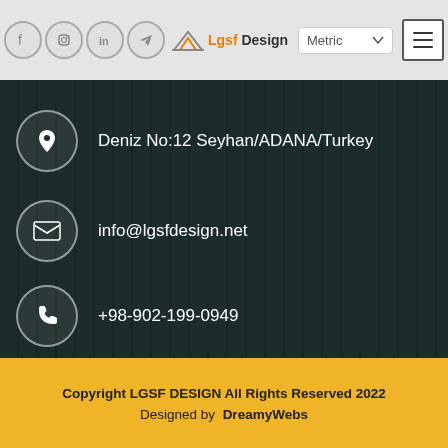[Figure (screenshot): Website header with social media icons (Facebook, Instagram, LinkedIn, Telegram, YouTube, Pinterest), Lgsf Design logo, Metric dropdown selector, and hamburger menu button]
Deniz No:12 Seyhan/ADANA/Turkey
info@lgsfdesign.net
+98-902-199-0949
Copyright LGSF DESIGN All Rights Reserved 2022
Designed by  DreamyWebs